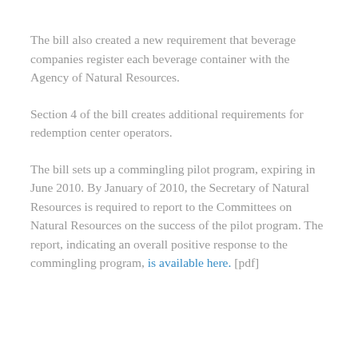The bill also created a new requirement that beverage companies register each beverage container with the Agency of Natural Resources.
Section 4 of the bill creates additional requirements for redemption center operators.
The bill sets up a commingling pilot program, expiring in June 2010. By January of 2010, the Secretary of Natural Resources is required to report to the Committees on Natural Resources on the success of the pilot program. The report, indicating an overall positive response to the commingling program, is available here. [pdf]